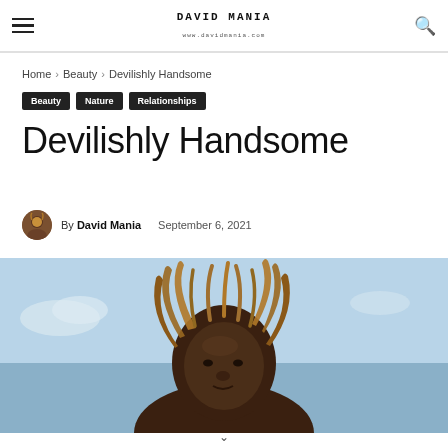DAVID MANIA — www.davidmania.com
Home › Beauty › Devilishly Handsome
Beauty
Nature
Relationships
Devilishly Handsome
By David Mania   September 6, 2021
[Figure (photo): Young person with dreadlocks against a blue sky background]